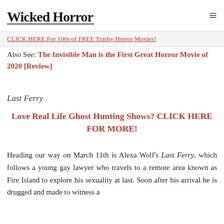plenty more so let's just jump right into the latest Netflix ... FREE! 20!
Wicked Horror [logo] [menu]
CLICK HERE For 100s of FREE Trashy Horror Movies!
Also See: The Invisible Man is the First Great Horror Movie of 2020 [Review]
Last Ferry
Love Real Life Ghost Hunting Shows? CLICK HERE FOR MORE!
Heading our way on March 11th is Alexa Wolf's Last Ferry, which follows a young gay lawyer who travels to a remote area known as Fire Island to explore his sexuality at last. Soon after his arrival he is drugged and made to witness a